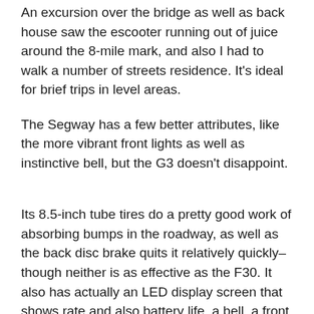An excursion over the bridge as well as back house saw the escooter running out of juice around the 8-mile mark, and also I had to walk a number of streets residence. It's ideal for brief trips in level areas.
The Segway has a few better attributes, like the more vibrant front lights as well as instinctive bell, but the G3 doesn't disappoint.
Its 8.5-inch tube tires do a pretty good work of absorbing bumps in the roadway, as well as the back disc brake quits it relatively quickly– though neither is as effective as the F30. It also has actually an LED display screen that shows rate and also battery life, a bell, a front light, a